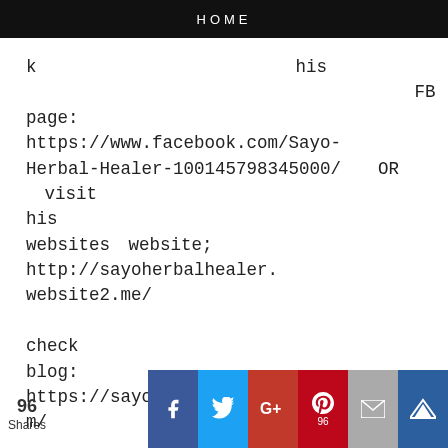HOME
k his FB page: https://www.facebook.com/Sayo-Herbal-Healer-100145798345000/ OR visit his websites website; http://sayoherbalhealer.website2.me/ check blog: https://sayoherbalhealer.blogspot.com/
96 Shares | Facebook | Twitter | Google+ | Pinterest 96 | Email | Crown